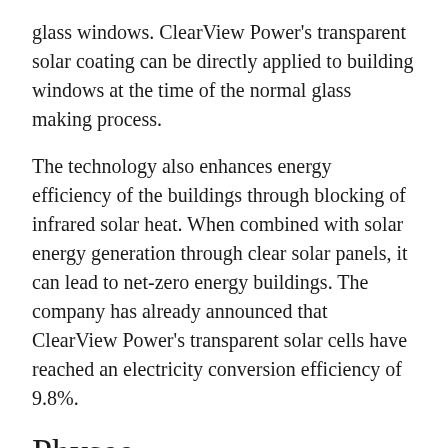glass windows. ClearView Power's transparent solar coating can be directly applied to building windows at the time of the normal glass making process.
The technology also enhances energy efficiency of the buildings through blocking of infrared solar heat. When combined with solar energy generation through clear solar panels, it can lead to net-zero energy buildings. The company has already announced that ClearView Power's transparent solar cells have reached an electricity conversion efficiency of 9.8%.
Physee
Physee is a European manufacturer that has introduced an advanced product called PowerWindow. In fact, it is the only currently installed transparent